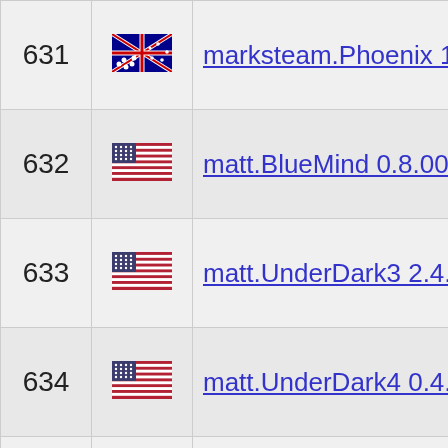| # | Flag | Name | Action |
| --- | --- | --- | --- |
| 631 | AU | marksteam.Phoenix 1.0 | compa… |
| 632 | US | matt.BlueMind 0.8.00 | compa… |
| 633 | US | matt.UnderDark3 2.4.34 | compa… |
| 634 | US | matt.UnderDark4 0.4.00 | compa… |
| 635 | US | matt.advanced.Katana 1.0 | compa… |
| 636 |  | maye.SlashBot 1.0 | compa… |
| 637 |  | mb.Beast 0.4.1 | compa… |
| 638 |  | mb.Mante 0.1.0 | compa… |